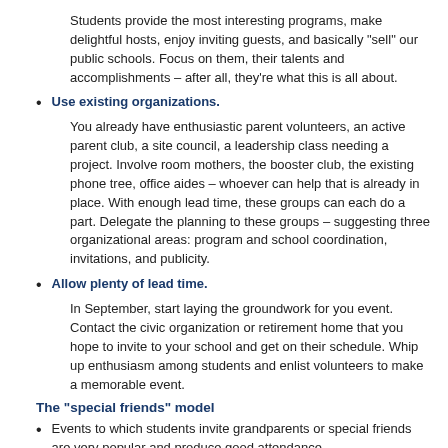Students provide the most interesting programs, make delightful hosts, enjoy inviting guests, and basically "sell" our public schools. Focus on them, their talents and accomplishments – after all, they're what this is all about.
Use existing organizations.
You already have enthusiastic parent volunteers, an active parent club, a site council, a leadership class needing a project. Involve room mothers, the booster club, the existing phone tree, office aides – whoever can help that is already in place. With enough lead time, these groups can each do a part. Delegate the planning to these groups – suggesting three organizational areas: program and school coordination, invitations, and publicity.
Allow plenty of lead time.
In September, start laying the groundwork for you event. Contact the civic organization or retirement home that you hope to invite to your school and get on their schedule. Whip up enthusiasm among students and enlist volunteers to make a memorable event.
The "special friends" model
Events to which students invite grandparents or special friends are very popular and produce good attendance.